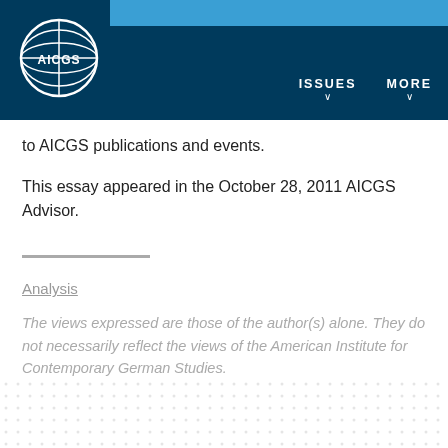AICGS | ISSUES | MORE
to AICGS publications and events.
This essay appeared in the October 28, 2011 AICGS Advisor.
Analysis
The views expressed are those of the author(s) alone. They do not necessarily reflect the views of the American Institute for Contemporary German Studies.